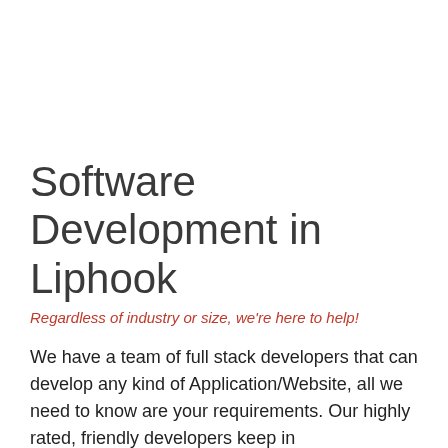Software Development in Liphook
Regardless of industry or size, we're here to help!
We have a team of full stack developers that can develop any kind of Application/Website, all we need to know are your requirements. Our highly rated, friendly developers keep in
[Figure (infographic): Red circle info icon (i)]
This website may request some information from you as well as using cookies for security and advertising purposes, please review and accept the privacy policy.
View Policy  Accept